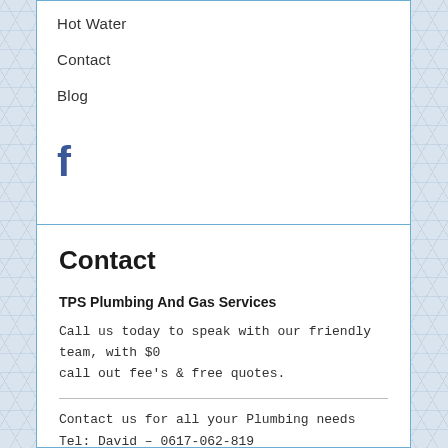Hot Water
Contact
Blog
[Figure (logo): Facebook 'f' logo icon in blue]
Contact
TPS Plumbing And Gas Services
Call us today to speak with our friendly team, with $0 call out fee's & free quotes.
Contact us for all your Plumbing needs
Tel: David – 0617-062-819